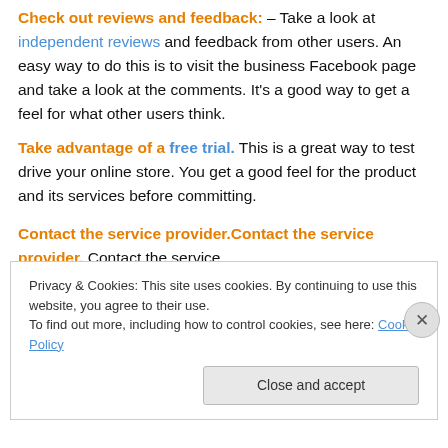Check out reviews and feedback: – Take a look at independent reviews and feedback from other users. An easy way to do this is to visit the business Facebook page and take a look at the comments. It's a good way to get a feel for what other users think.
Take advantage of a free trial. This is a great way to test drive your online store. You get a good feel for the product and its services before committing.
Contact the service provider. Contact the service
Privacy & Cookies: This site uses cookies. By continuing to use this website, you agree to their use. To find out more, including how to control cookies, see here: Cookie Policy
Close and accept